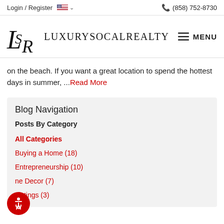Login / Register  (858) 752-8730
[Figure (logo): LuxurySoCalRealty logo with stylized LSR monogram and company name]
on the beach. If you want a great location to spend the hottest days in summer, ...Read More
Blog Navigation
Posts By Category
All Categories
Buying a Home  (18)
Entrepreneurship  (10)
Home Decor  (7)
Listings  (3)